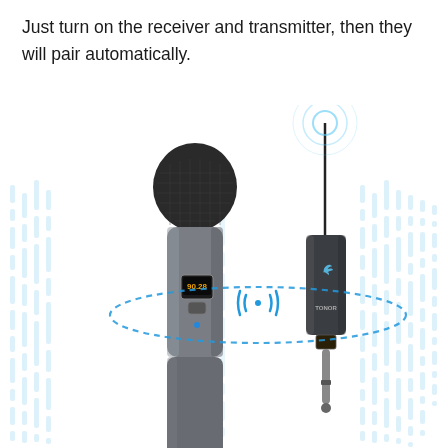Just turn on the receiver and transmitter, then they will pair automatically.
[Figure (photo): Product photo showing a handheld wireless microphone (transmitter) on the left and a small USB/3.5mm wireless receiver dongle on the right with antenna pointing up. A dotted oval line connects the two showing wireless pairing, with a wireless signal symbol ((·)) in the center. Blue sound wave bar-graph patterns appear in the background on left and right sides.]